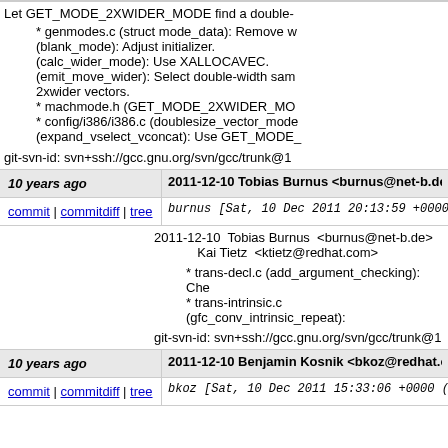Let GET_MODE_2XWIDER_MODE find a double-
* genmodes.c (struct mode_data): Remove w
(blank_mode): Adjust initializer.
(calc_wider_mode): Use XALLOCAVEC.
(emit_move_wider): Select double-width sam
2xwider vectors.
* machmode.h (GET_MODE_2XWIDER_MO
* config/i386/i386.c (doublesize_vector_mode
(expand_vselect_vconcat): Use GET_MODE_
git-svn-id: svn+ssh://gcc.gnu.org/svn/gcc/trunk@1
10 years ago
2011-12-10 Tobias Burnus <burnus@net-b.de>
commit | commitdiff | tree
burnus [Sat, 10 Dec 2011 20:13:59 +0000
2011-12-10 Tobias Burnus <burnus@net-b.de>
    Kai Tietz <ktietz@redhat.com>

* trans-decl.c (add_argument_checking): Che
* trans-intrinsic.c (gfc_conv_intrinsic_repeat):

git-svn-id: svn+ssh://gcc.gnu.org/svn/gcc/trunk@1
10 years ago
2011-12-10 Benjamin Kosnik <bkoz@redhat.co
commit | commitdiff | tree
bkoz [Sat, 10 Dec 2011 15:33:06 +0000 (1